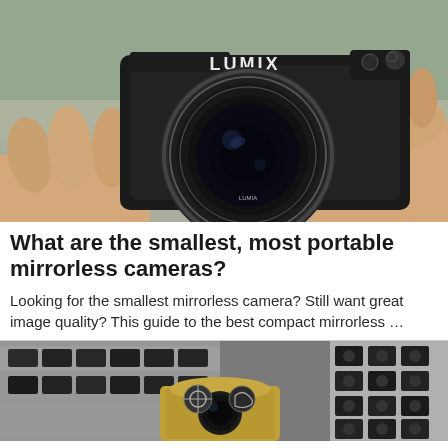[Figure (photo): Close-up of hands holding a Panasonic Lumix mirrorless camera with lens pointing toward viewer, set against a blurred outdoor background.]
What are the smallest, most portable mirrorless cameras?
Looking for the smallest mirrorless camera? Still want great image quality? This guide to the best compact mirrorless …
[Figure (photo): Display of various cameras at what appears to be a camera store or expo; a large telephoto lens in the foreground center, flanked by rows of cameras on shelves.]